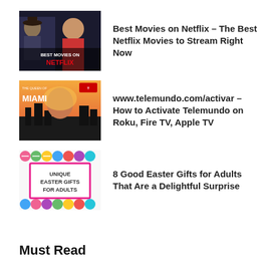[Figure (photo): Best Movies on Netflix thumbnail with text overlay 'BEST MOVIES ON NETFLIX' in red on dark background with movie characters]
Best Movies on Netflix – The Best Netflix Movies to Stream Right Now
[Figure (photo): The Queen of Miami Telemundo show promotional image with woman and city skyline]
www.telemundo.com/activar – How to Activate Telemundo on Roku, Fire TV, Apple TV
[Figure (photo): Unique Easter Gifts for Adults image with colorful Easter eggs and sign]
8 Good Easter Gifts for Adults That Are a Delightful Surprise
Must Read